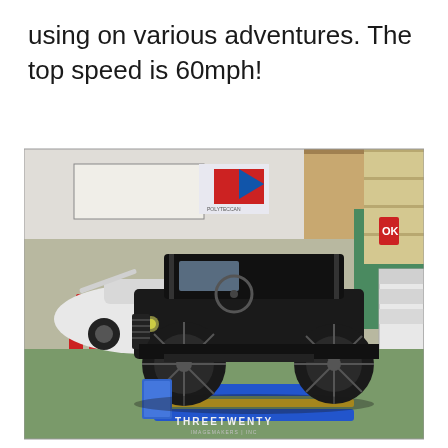using on various adventures. The top speed is 60mph!
[Figure (photo): A vintage black Model T Ford automobile parked in an automotive workshop/garage. The car has large spoke wheels, a black convertible top, and brass fittings. In the background is a white modern small car with its hood open, orange safety pylons, and garage equipment. Blue alignment ramps are visible under the car. A watermark reads 'THREETWENTY' at the bottom center.]